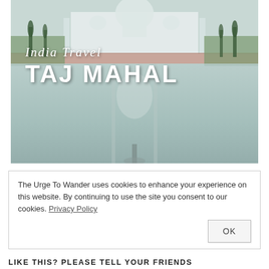[Figure (photo): Photograph of the Taj Mahal reflected in a long rectangular pool, with cypress trees lining the path, overlaid with white text reading 'India Travel' in script and 'TAJ MAHAL' in bold block letters.]
India Travel
TAJ MAHAL
The Urge To Wander uses cookies to enhance your experience on this website. By continuing to use the site you consent to our cookies. Privacy Policy
OK
LIKE THIS? PLEASE TELL YOUR FRIENDS